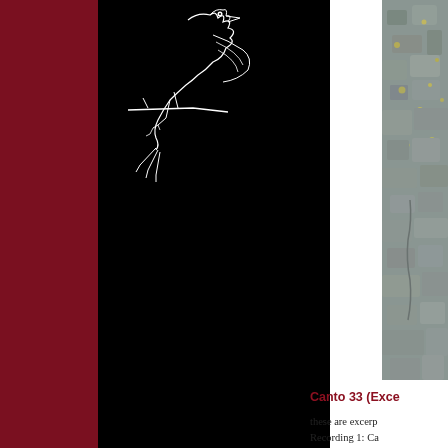[Figure (illustration): White line drawing of a bird on black background]
[Figure (photo): Stone or rock wall texture photograph, grey with yellow lichen spots]
Canto 33 (Exce
these are excerp
Recording 1: Ca